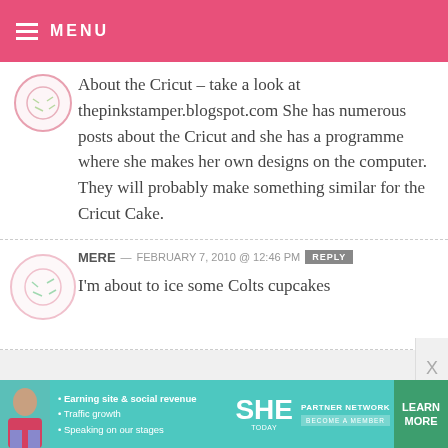MENU
About the Cricut – take a look at thepinkstamper.blogspot.com She has numerous posts about the Cricut and she has a programme where she makes her own designs on the computer. They will probably make something similar for the Cricut Cake.
MERE — FEBRUARY 7, 2010 @ 12:46 PM REPLY
I'm about to ice some Colts cupcakes